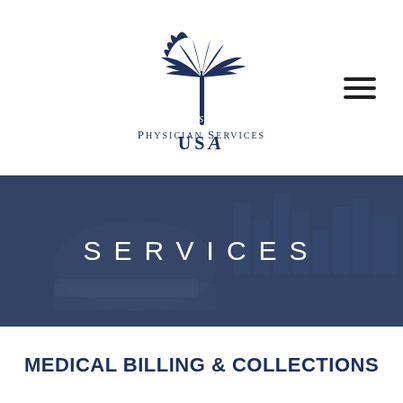[Figure (logo): Physician Services USA logo with palm tree and crescent moon in navy blue]
[Figure (photo): Banner with background photo of hands reviewing financial/billing charts, overlaid with dark blue tint]
SERVICES
MEDICAL BILLING & COLLECTIONS